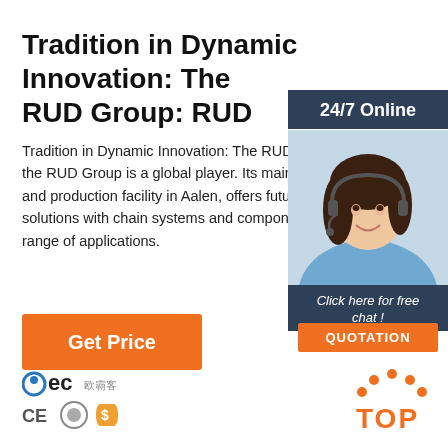Tradition in Dynamic Innovation: The RUD Group: RUD
Tradition in Dynamic Innovation: The RUD G the RUD Group is a global player. Its main do and production facility in Aalen, offers future- solutions with chain systems and component range of applications.
Get Price
24/7 Online
[Figure (photo): Woman with headset smiling, customer service representative]
Click here for free chat !
QUOTATION
[Figure (logo): BEC logo with Chinese characters]
[Figure (logo): CE, certification, and dollar shield icons]
[Figure (logo): TOP logo with orange dots in arch above T-O-P text]